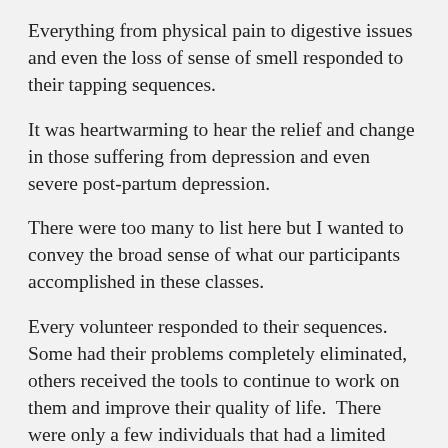Everything from physical pain to digestive issues and even the loss of sense of smell responded to their tapping sequences.
It was heartwarming to hear the relief and change in those suffering from depression and even severe post-partum depression.
There were too many to list here but I wanted to convey the broad sense of what our participants accomplished in these classes.
Every volunteer responded to their sequences. Some had their problems completely eliminated, others received the tools to continue to work on them and improve their quality of life.  There were only a few individuals that had a limited response in the brief time on the call.  But even they had the chance to experience TFT, VT and see some...